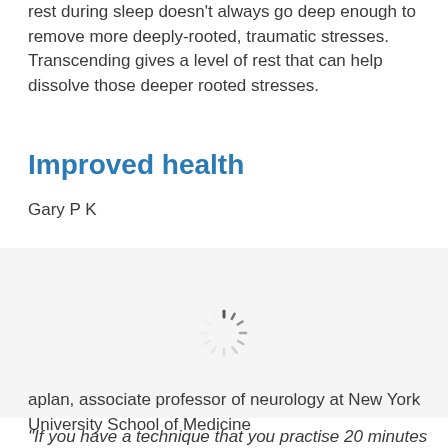rest during sleep doesn't always go deep enough to remove more deeply-rooted, traumatic stresses. Transcending gives a level of rest that can help dissolve those deeper rooted stresses.
Improved health
Gary P K
[Figure (other): Loading spinner icon — a circular dashed/radial spinner graphic indicating content is loading]
aplan, associate professor of neurology at New York University School of Medicine
“If you have a technique that you practise 20 minutes twice